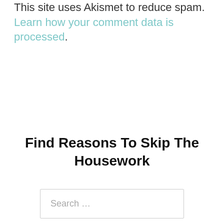This site uses Akismet to reduce spam. Learn how your comment data is processed.
Find Reasons To Skip The Housework
Search …